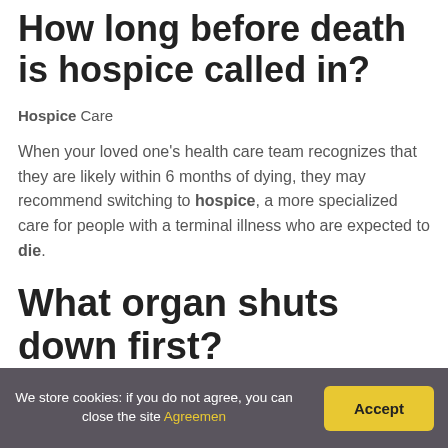How long before death is hospice called in?
Hospice Care
When your loved one's health care team recognizes that they are likely within 6 months of dying, they may recommend switching to hospice, a more specialized care for people with a terminal illness who are expected to die.
What organ shuts down first?
We store cookies: if you do not agree, you can close the site Agreemen